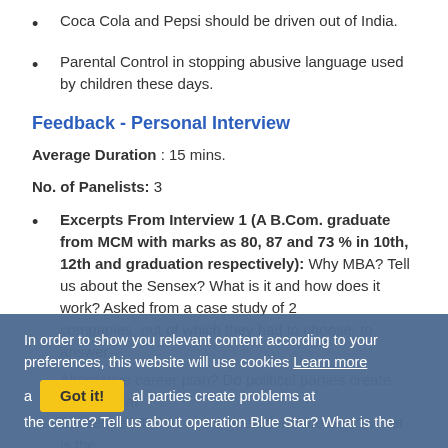Coca Cola and Pepsi should be driven out of India.
Parental Control in stopping abusive language used by children these days.
Feedback - Personal Interview
Average Duration : 15 mins.
No. of Panelists: 3
Excerpts From Interview 1 (A B.Com. graduate from MCM with marks as 80, 87 and 73 % in 10th, 12th and graduation respectively): Why MBA? Tell us about the Sensex? What is it and how does it work? Asked from a case study of 2 companies, out of which they had to choose, to answer questions. Alternative career plan? Do political parties create problems at the centre? Tell us about operation Blue Star? What is the
In order to show you relevant content according to your preferences, this website will use cookies Learn more Got it! al parties create problems at the centre? Tell us about operation Blue Star? What is the